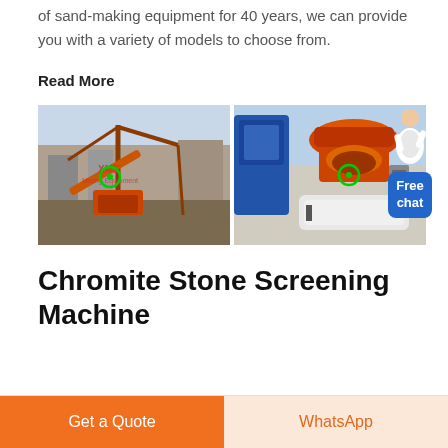of sand-making equipment for 40 years, we can provide you with a variety of models to choose from.
Read More
[Figure (photo): Two industrial equipment photos side by side: left shows a crane/conveyor sand-making plant with XME Mining Equipment watermark; right shows orange and white industrial crushing/screening machinery in a factory.]
Chromite Stone Screening Machine
Get a Quote
WhatsApp